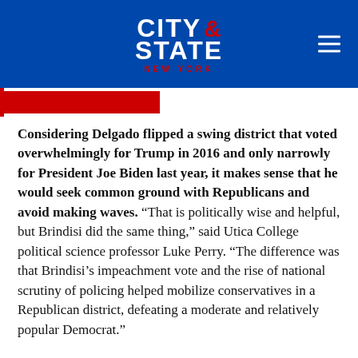CITY & STATE NEW YORK
Considering Delgado flipped a swing district that voted overwhelmingly for Trump in 2016 and only narrowly for President Joe Biden last year, it makes sense that he would seek common ground with Republicans and avoid making waves. “That is politically wise and helpful, but Brindisi did the same thing,” said Utica College political science professor Luke Perry. “The difference was that Brindisi’s impeachment vote and the rise of national scrutiny of policing helped mobilize conservatives in a Republican district, defeating a moderate and relatively popular Democrat.”